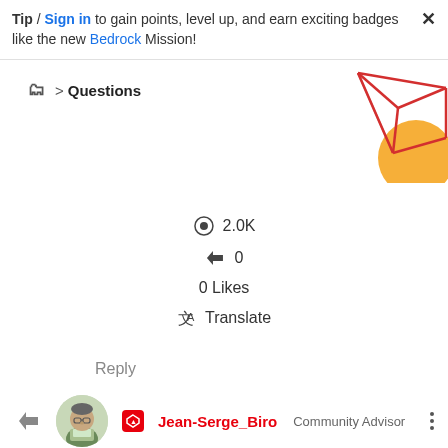Tip / Sign in to gain points, level up, and earn exciting badges like the new Bedrock Mission!
📁 > Questions
[Figure (illustration): Decorative geometric illustration with red lines forming diamond/polygon shapes and orange circular elements in the top-right corner]
👁 2.0K
↩ 0
0 Likes
🔄 Translate
Reply
Jean-Serge_Biro  Community Advisor